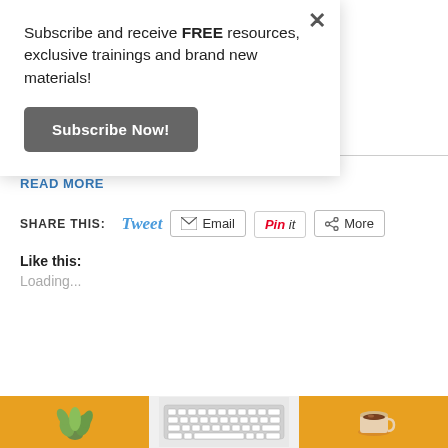Subscribe and receive FREE resources, exclusive trainings and brand new materials!
Subscribe Now!
READ MORE
SHARE THIS:
Tweet
Email
Pin it
More
Like this:
Loading...
[Figure (photo): Three images at bottom: succulent plant on yellow background, white keyboard, coffee cup on yellow background]